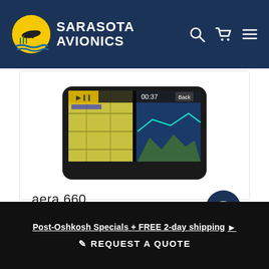Sarasota Avionics
[Figure (photo): Garmin aera 660 aviation GPS device screen showing map/navigation display with yellow and blue colors, time 00:37 shown, Back button visible]
aera 660
Garmin
Part #: 010-01518-0x
$799.00
[Figure (other): Partial view of second product card with orange/red diagonal stripe at top left]
Post-Oshkosh Specials + FREE 2-day shipping ▶
✏ REQUEST A QUOTE